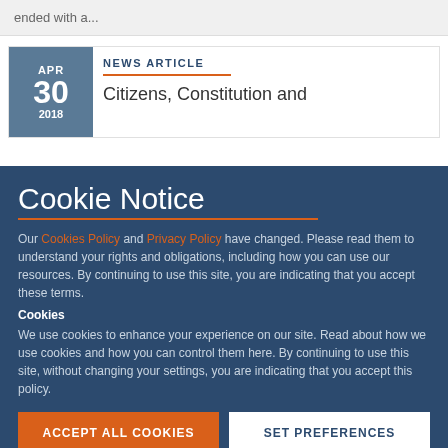ended with a...
APR 30 2018
NEWS ARTICLE
Citizens, Constitution and
Cookie Notice
Our Cookies Policy and Privacy Policy have changed. Please read them to understand your rights and obligations, including how you can use our resources. By continuing to use this site, you are indicating that you accept these terms.
Cookies
We use cookies to enhance your experience on our site. Read about how we use cookies and how you can control them here. By continuing to use this site, without changing your settings, you are indicating that you accept this policy.
ACCEPT ALL COOKIES
SET PREFERENCES